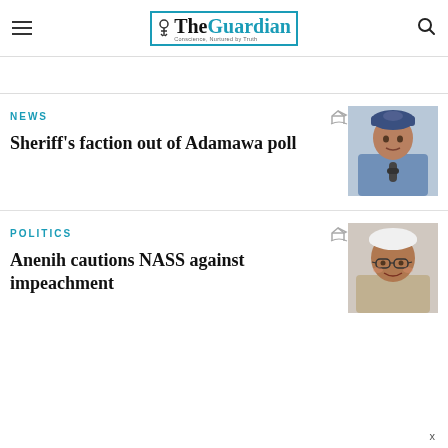The Guardian — Conscience, Nurtured by Truth
NEWS
Sheriff's faction out of Adamawa poll
[Figure (photo): Photograph of a man wearing a blue traditional Nigerian outfit and embroidered cap, sitting with a microphone]
POLITICS
Anenih cautions NASS against impeachment
[Figure (photo): Photograph of an elderly man wearing white cap and glasses, smiling]